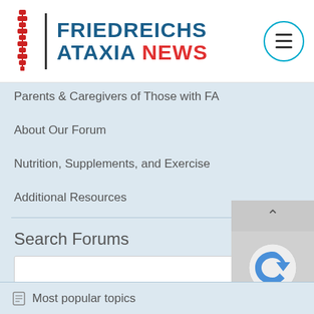[Figure (logo): Friedreichs Ataxia News logo with spine icon, vertical divider, bold blue text 'FRIEDREICHS ATAXIA' and red 'NEWS', plus circular hamburger menu button]
Parents & Caregivers of Those with FA
About Our Forum
Nutrition, Supplements, and Exercise
Additional Resources
Search Forums
Most popular topics